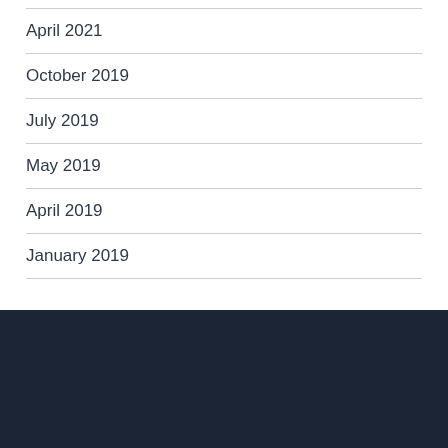April 2021
October 2019
July 2019
May 2019
April 2019
January 2019